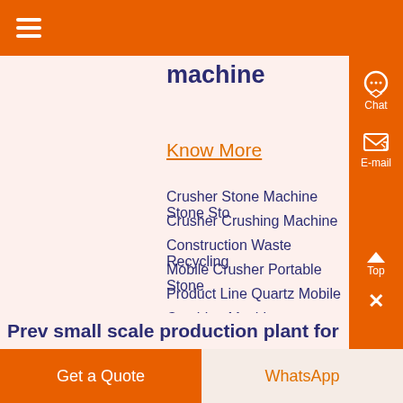Navigation header bar
[Figure (photo): Industrial machinery/crusher equipment photo]
machine
Know More
Crusher Stone Machine Stone Sto
Crusher Crushing Machine
Construction Waste Recycling
Mobile Crusher Portable Stone
Product Line Quartz Mobile Crushing Machine ,...
Prev small scale production plant for
Get a Quote    WhatsApp